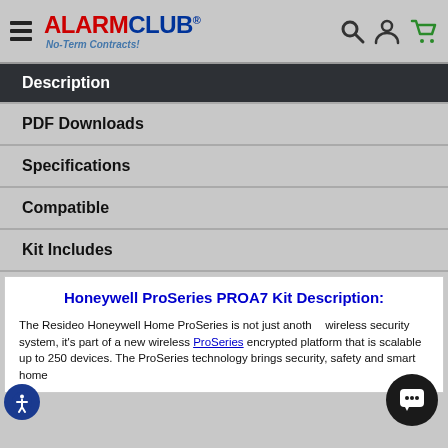ALARMCLUB® No-Term Contracts!
Description
PDF Downloads
Specifications
Compatible
Kit Includes
Honeywell ProSeries PROA7 Kit Description:
The Resideo Honeywell Home ProSeries is not just another wireless security system, it's part of a new wireless ProSeries encrypted platform that is scalable up to 250 devices. The ProSeries technology brings security, safety and smart home